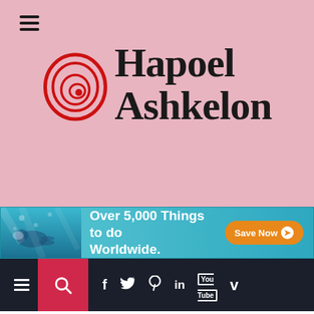[Figure (logo): Hapoel Ashkelon website header with pink background, hamburger menu icon, spiral logo mark in red, and bold serif text 'Hapoel Ashkelon']
[Figure (infographic): Advertisement banner: underwater snorkeling photo on left, teal background, text 'Over 5,000 Things to do Worldwide.' with orange 'Save Now' button]
[Figure (screenshot): Dark navigation bar with hamburger icon, red search button, and social media icons: f (Facebook), Twitter bird, Pinterest, LinkedIn, YouTube, Vimeo]
Home » Shopping » A Couple of Useful Tips Regarding Shopping in Puerto Del Carmen